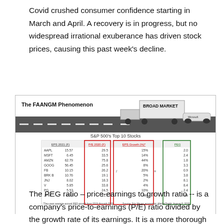Covid crushed consumer confidence starting in March and April. A recovery is in progress, but no widespread irrational exuberance has driven stock prices, causing this past week's decline.
[Figure (infographic): The FAANGM Phenomenon infographic with a truck labeled 'BROAD MARKET' and a race car, and a table showing S&P 500's Top 10 Stocks with columns EPS 2021 (F), P/E 2020 (F), EPS Growth (%), and PEG for stocks AAPL, MSFT, AMZN, GOOG, FB, BRK B, JNJ, V, PG, JPM.]
The PEG ratio – price-earnings to growth ratio -- is a company's price-to-earnings (P/E) ratio divided by the growth rate of its earnings. It is a more thorough metric than